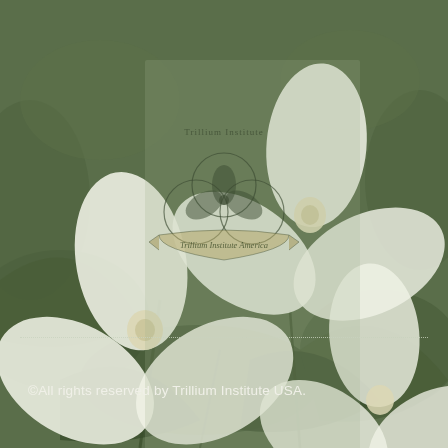[Figure (illustration): Background image of white trillium flowers on green foliage, with a semi-transparent lighter rectangle overlaid in the center containing a Trillium Institute America logo — a decorative symbol with overlapping circles and leaf shapes, with the text 'Trillium Institute America' in a banner ribbon in the lower portion of the logo.]
©All rights reserved by Trillium Institute USA.